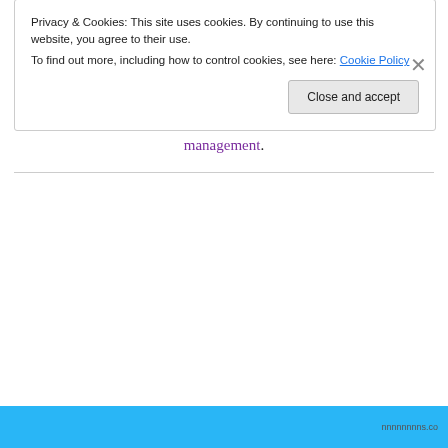For the last 11 years, I have been architecting optimal solutions exclusively on the Microsoft platform. My work with enterprise clients spans from the inception of business strategy and concept, to estimate and business value assessments, technical and application architecture, through to full project execution and resultant benefits management.
Privacy & Cookies: This site uses cookies. By continuing to use this website, you agree to their use.
To find out more, including how to control cookies, see here: Cookie Policy